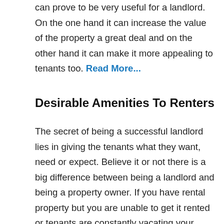can prove to be very useful for a landlord. On the one hand it can increase the value of the property a great deal and on the other hand it can make it more appealing to tenants too. Read More...
Desirable Amenities To Renters
The secret of being a successful landlord lies in giving the tenants what they want, need or expect. Believe it or not there is a big difference between being a landlord and being a property owner. If you have rental property but you are unable to get it rented or tenants are constantly vacating your property then you cannot be termed as a successful landlord. Read M...